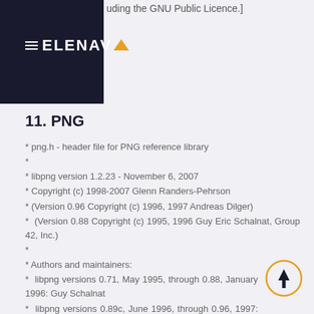uding the GNU Public Licence.]
[Figure (logo): Telenav logo with hamburger menu icon, white text on dark navy background with orange triangle arrow]
11.  PNG
* png.h - header file for PNG reference library
*
* libpng version 1.2.23 - November 6, 2007
* Copyright (c) 1998-2007 Glenn Randers-Pehrson
* (Version 0.96 Copyright (c) 1996, 1997 Andreas Dilger)
*  (Version 0.88 Copyright (c) 1995, 1996 Guy Eric Schalnat, Group 42, Inc.)
*
* Authors and maintainers:
*  libpng versions 0.71, May 1995, through 0.88, January 1996: Guy Schalnat
*  libpng versions 0.89c, June 1996, through 0.96, 1997: Andreas Dilger
*  libpng versions 0.97, January 1998, through 1.2.23, November 6, 2007: Glenn